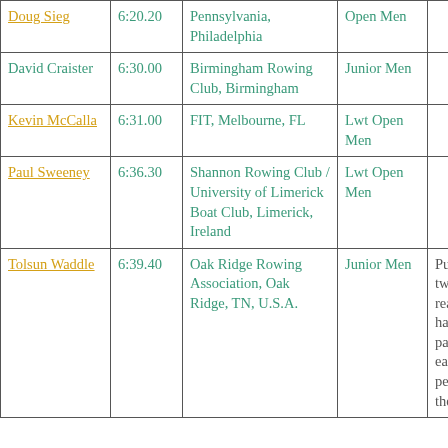| Name | Time | Club | Category | Notes |
| --- | --- | --- | --- | --- |
| Doug Sieg | 6:20.20 | Pennsylvania, Philadelphia | Open Men |  |
| David Craister | 6:30.00 | Birmingham Rowing Club, Birmingham | Junior Men |  |
| Kevin McCalla | 6:31.00 | FIT, Melbourne, FL | Lwt Open Men |  |
| Paul Sweeney | 6:36.30 | Shannon Rowing Club / University of Limerick Boat Club, Limerick, Ireland | Lwt Open Men |  |
| Tolsun Waddle | 6:39.40 | Oak Ridge Rowing Association, Oak Ridge, TN, U.S.A. | Junior Men | Pulled this after two months of not really training to hard (just participated in easy rows); was personal best at the time |